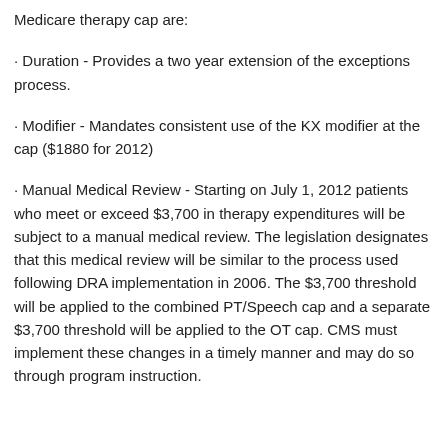Medicare therapy cap are:
· Duration - Provides a two year extension of the exceptions process.
· Modifier - Mandates consistent use of the KX modifier at the cap ($1880 for 2012)
· Manual Medical Review - Starting on July 1, 2012 patients who meet or exceed $3,700 in therapy expenditures will be subject to a manual medical review. The legislation designates that this medical review will be similar to the process used following DRA implementation in 2006. The $3,700 threshold will be applied to the combined PT/Speech cap and a separate $3,700 threshold will be applied to the OT cap. CMS must implement these changes in a timely manner and may do so through program instruction.